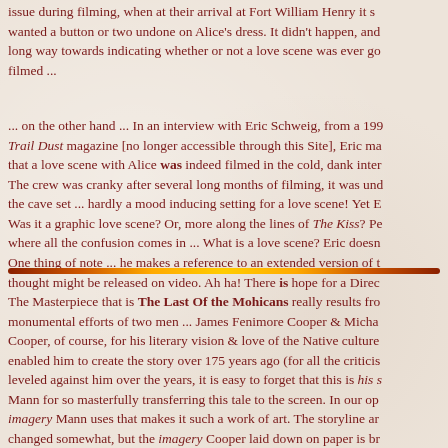issue during filming, when at their arrival at Fort William Henry it seemed someone wanted a button or two undone on Alice's dress. It didn't happen, and that goes a long way towards indicating whether or not a love scene was ever going to get filmed ...
... on the other hand ... In an interview with Eric Schweig, from a 1993 issue of Trail Dust magazine [no longer accessible through this Site], Eric makes reference that a love scene with Alice was indeed filmed in the cold, dank interior of the cave set ... hardly a mood inducing setting for a love scene! Yet Eric confirms it. Was it a graphic love scene? Or, more along the lines of The Kiss? Perhaps that's where all the confusion comes in ... What is a love scene? Eric doesn't elaborate. One thing of note ... he makes a reference to an extended version of the film that he thought might be released on video. Ah ha! There is hope for a Director's cut!
[Figure (other): Horizontal decorative divider bar with gradient from dark red/brown through orange to gold and back]
The Masterpiece that is The Last Of the Mohicans really results from the monumental efforts of two men ... James Fenimore Cooper & Michael Mann. Cooper, of course, for his literary vision & love of the Native culture that enabled him to create the story over 175 years ago (for all the criticisms leveled against him over the years, it is easy to forget that this is his story) & Mann for so masterfully transferring this tale to the screen. In our op imagery Mann uses that makes it such a work of art. The storyline ar changed somewhat, but the imagery Cooper laid down on paper is br conveyed to the screen by Mann.